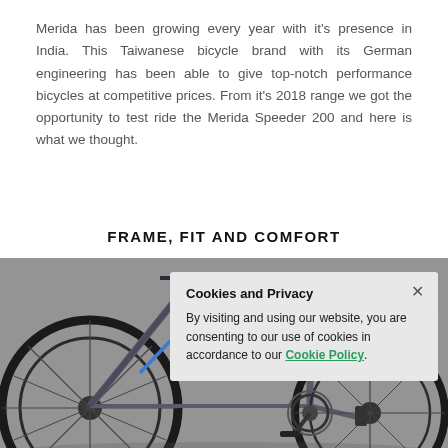Merida has been growing every year with it's presence in India. This Taiwanese bicycle brand with its German engineering has been able to give top-notch performance bicycles at competitive prices. From it's 2018 range we got the opportunity to test ride the Merida Speeder 200 and here is what we thought.
FRAME, FIT AND COMFORT
[Figure (photo): Close-up photo of a Merida Speeder 200 bicycle, grey and blue frame, showing front wheel, fork, handlebars, and rear wheel with drivetrain, against a grey concrete background.]
Cookies and Privacy
By visiting and using our website, you are consenting to our use of cookies in accordance to our Cookie Policy.